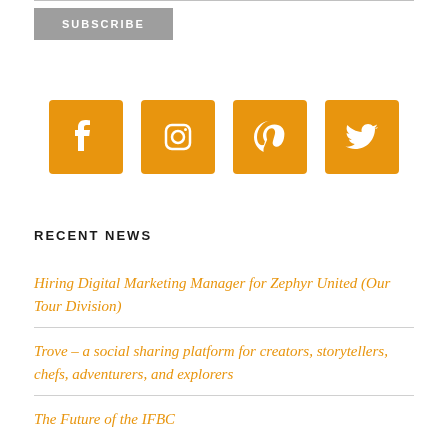SUBSCRIBE
[Figure (infographic): Four orange square social media icons in a row: Facebook (f), Instagram (camera), Pinterest (p), Twitter (bird)]
RECENT NEWS
Hiring Digital Marketing Manager for Zephyr United (Our Tour Division)
Trove – a social sharing platform for creators, storytellers, chefs, adventurers, and explorers
The Future of the IFBC